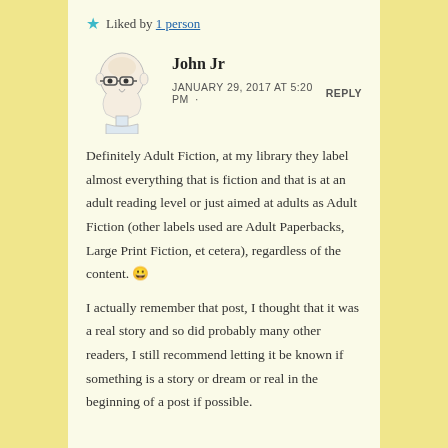★ Liked by 1 person
John Jr
JANUARY 29, 2017 AT 5:20 PM · REPLY
Definitely Adult Fiction, at my library they label almost everything that is fiction and that is at an adult reading level or just aimed at adults as Adult Fiction (other labels used are Adult Paperbacks, Large Print Fiction, et cetera), regardless of the content. 😀
I actually remember that post, I thought that it was a real story and so did probably many other readers, I still recommend letting it be known if something is a story or dream or real in the beginning of a post if possible.